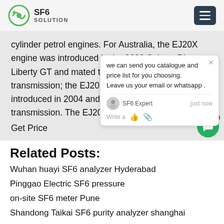SF6 SOLUTION
cylinder petrol engines. For Australia, the EJ20X engine was introduced in the 2003 Subaru BL Liberty GT and mated to a five-speed automatic transmission; the EJ20Y was subsequently introduced in 2004 and had a five-speed transmission. The EJ20Y and EJ20X
Get Price
Related Posts:
Wuhan huayi SF6 analyzer Hyderabad
Pinggao Electric SF6 pressure
on-site SF6 meter Pune
Shandong Taikai SF6 purity analyzer shanghai
Gas-insulated switch SF6 pre-filter Bangalore